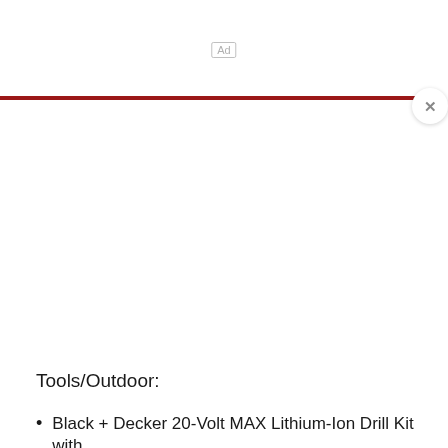Ad
[Figure (other): Red horizontal advertisement bar with close button (X)]
Tools/Outdoor:
Black + Decker 20-Volt MAX Lithium-Ion Drill Kit with